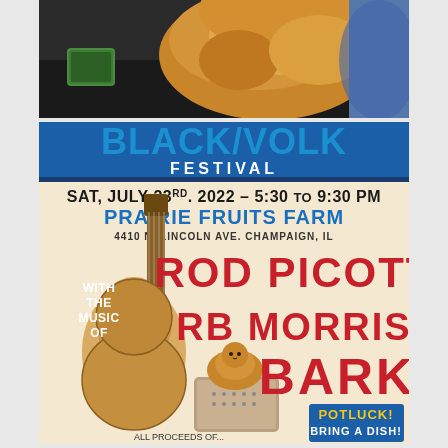[Figure (photo): Photo of a fluffy orange/golden cat on a dark surface with a small green bowl visible to the left]
[Figure (photo): Event poster for Black/Volk Festival on Sat, July 23rd, 2022 - 5:30 to 9:30 PM at Prairie Fruits Farm, 4410 N. Lincoln Ave. Champaign, IL. Featuring Rod Picott, RB Morris, Bark. With the music of. Potluck! Bring a dish! All proceeds of...]